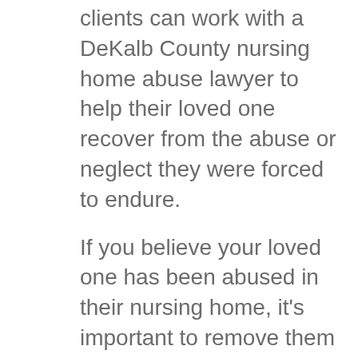clients can work with a DeKalb County nursing home abuse lawyer to help their loved one recover from the abuse or neglect they were forced to endure.
If you believe your loved one has been abused in their nursing home, it's important to remove them from that dangerous situation and get in touch with an attorney. Taking legal action against the facility may be the only way to hold them accountable for what happened.
Table of Contents
1. Recognizing the Signs of Nursing Home Abuse